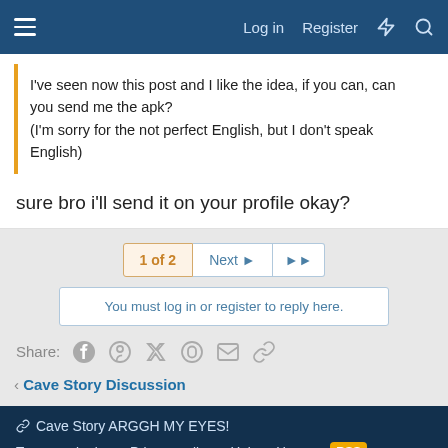Log in  Register
I've seen now this post and I like the idea, if you can, can you send me the apk?
(I'm sorry for the not perfect English, but I don't speak English)
sure bro i'll send it on your profile okay?
1 of 2  Next  >>
You must log in or register to reply here.
Share:
< Cave Story Discussion
Cave Story ARGGH MY EYES!
Terms and rules  Privacy policy  Help  Home
Community platform by XenForo ® © 2010-2022 XenForo Ltd.